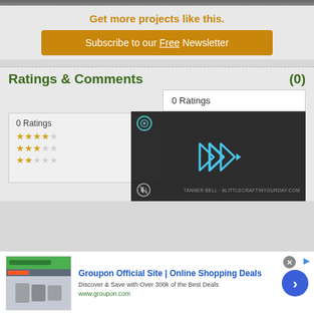[Figure (screenshot): Top strip showing partial image content]
Get more projects like this.
Subscribe to our Free Newsletter
Ratings & Comments (0)
0 Ratings
[Figure (screenshot): Video overlay showing play button with TANNER BELL - ALITTLECRAFTINYOURDAY.COM watermark]
0 Ratings
[Figure (infographic): Star rating display with 3 rows of stars]
[Figure (screenshot): Groupon advertisement banner with Online Shopping Deals text, discover and save with over 300k of the Best Deals, www.groupon.com]